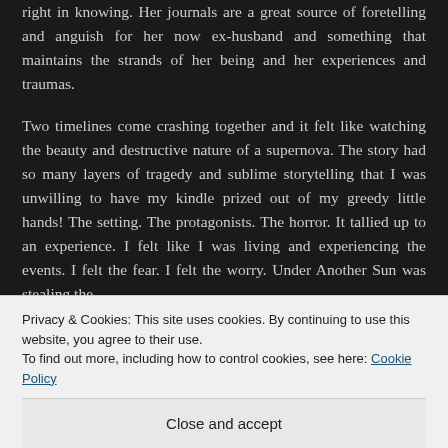right in knowing. Her journals are a great source of foretelling and anguish for her now ex-husband and something that maintains the strands of her being and her experiences and traumas.
Two timelines come crashing together and it felt like watching the beauty and destructive nature of a supernova. The story had so many layers of tragedy and sublime storytelling that I was unwilling to have my kindle prized out of my greedy little hands! The setting. The protagonists. The horror. It tallied up to an experience. I felt like I was living and experiencing the events. I felt the fear. I felt the worry. Under Another Sun was stealing the
Privacy & Cookies: This site uses cookies. By continuing to use this website, you agree to their use.
To find out more, including how to control cookies, see here: Cookie Policy
Close and accept